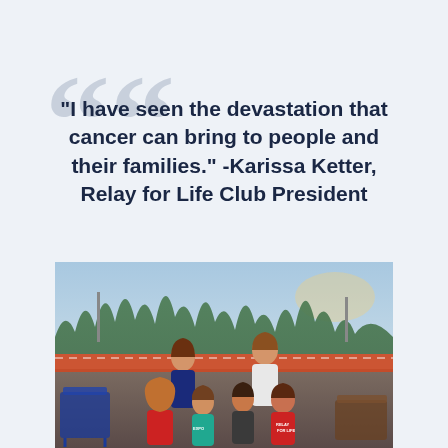“I have seen the devastation that cancer can bring to people and their families.” -Karissa Ketter, Relay for Life Club President
[Figure (photo): Group photo of Relay for Life club members posing together on a sports track at dusk, with trees and a red track barrier visible in the background. Six young people are shown, some standing, some kneeling in front.]